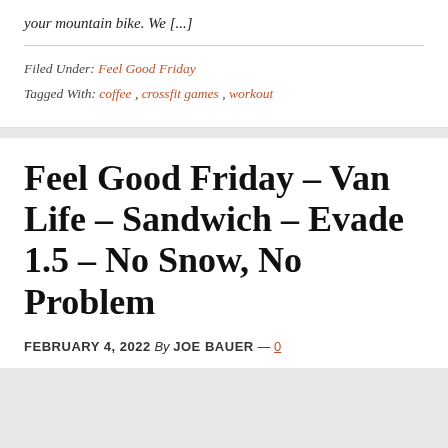your mountain bike. We [...]
Filed Under: Feel Good Friday
Tagged With: coffee, crossfit games, workout
Feel Good Friday – Van Life – Sandwich – Evade 1.5 – No Snow, No Problem
FEBRUARY 4, 2022 By JOE BAUER — 0